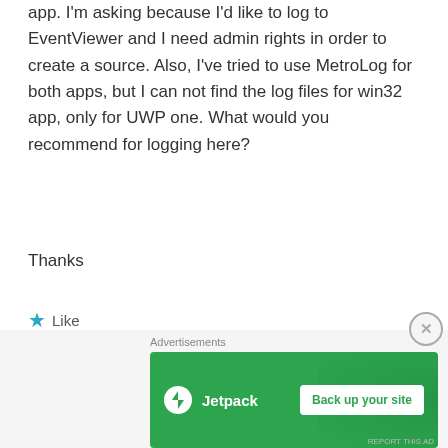app. I'm asking because I'd like to log to EventViewer and I need admin rights in order to create a source. Also, I've tried to use MetroLog for both apps, but I can not find the log files for win32 app, only for UWP one. What would you recommend for logging here?
Thanks
★ Like
REPLY
[Figure (photo): Avatar photo of user stefanwick, circular cropped headshot of a man with beard]
stefanwick
August 3, 2018 at 9:22 pm
[Figure (other): Jetpack advertisement banner with text 'Back up your site' button on green background]